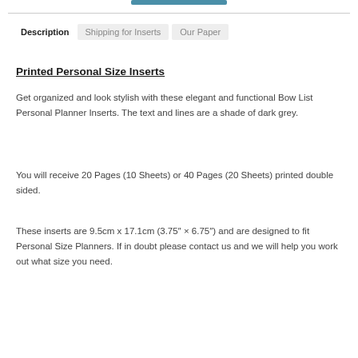Description | Shipping for Inserts | Our Paper
Printed Personal Size Inserts
Get organized and look stylish with these elegant and functional Bow List Personal Planner Inserts. The text and lines are a shade of dark grey.
You will receive 20 Pages (10 Sheets) or 40 Pages (20 Sheets) printed double sided.
These inserts are 9.5cm x 17.1cm (3.75″ × 6.75″) and are designed to fit Personal Size Planners. If in doubt please contact us and we will help you work out what size you need.